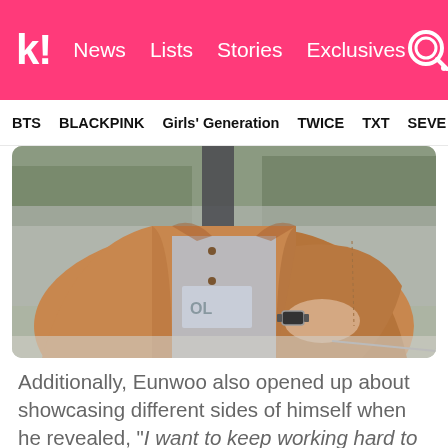k! News Lists Stories Exclusives
BTS BLACKPINK Girls' Generation TWICE TXT SEVE
[Figure (photo): Person wearing a tan/brown suede jacket over a graphic t-shirt, holding something in front of them, wearing a watch. Outdoor setting with a wall in background.]
Additionally, Eunwoo also opened up about showcasing different sides of himself when he revealed, “I want to keep working hard to show everyone a newer side to Cha Eunwoo.”